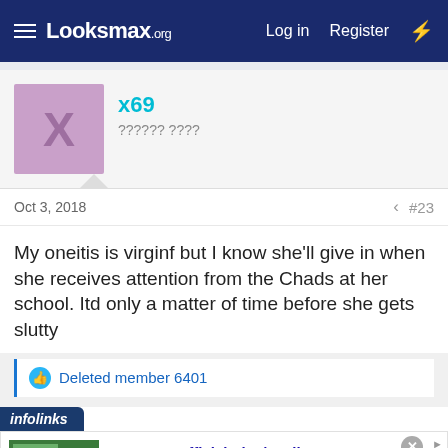Looksmax.org — Log in  Register
x69
?????? ????
Oct 3, 2018  #23
My oneitis is virginf but I know she'll give in when she receives attention from the Chads at her school. Itd only a matter of time before she gets slutty
Deleted member 6401
[Figure (screenshot): Infolinks advertisement for Groupon Official Site showing online shopping deals with thumbnail image and navigation arrow]